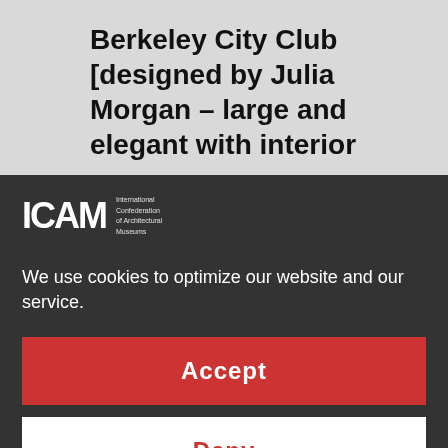Berkeley City Club [designed by Julia Morgan – large and elegant with interior
[Figure (logo): ICAM logo with letters ICAM and small tagline text]
We use cookies to optimize our website and our service.
Accept
Deny
Preferences
Cookie Policy   Privacy Statement   Impressum
www.bedandbreakfast.com/california-berkeley-rose-garden-inn.html